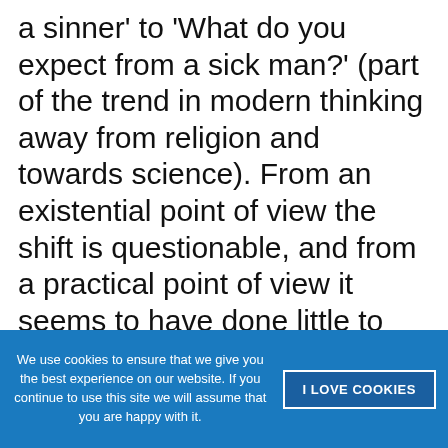a sinner' to 'What do you expect from a sick man?' (part of the trend in modern thinking away from religion and towards science). From an existential point of view the shift is questionable, and from a practical point of view it seems to have done little to diminish the sale of liquor to heavy drinkers. Nevertheless, Alcoholics Anonymous is still for most people the best initiation into the therapy of over-indulgence.
We use cookies to ensure that we give you the best experience on our website. If you continue to use this site we will assume that you are happy with it.
I LOVE COOKIES